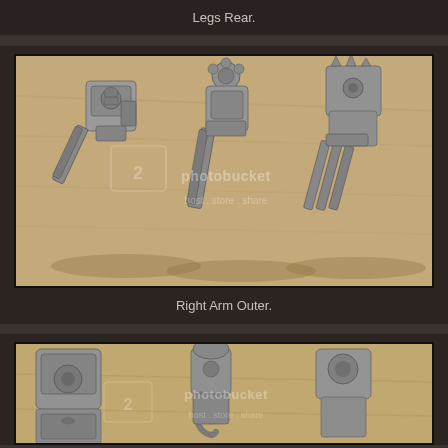Legs Rear.
[Figure (photo): Three grey plastic Warhammer-style miniature torso/arm assemblies with heavy weapons, photographed on a wooden surface. Photobucket watermark visible.]
Right Arm Outer.
[Figure (photo): Grey plastic Warhammer-style miniature parts including torsos and components, photographed on a wooden surface. Photobucket watermark visible. Image is cropped at the bottom.]